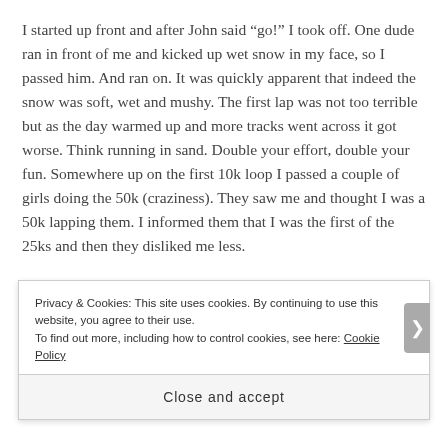I started up front and after John said “go!” I took off. One dude ran in front of me and kicked up wet snow in my face, so I passed him. And ran on. It was quickly apparent that indeed the snow was soft, wet and mushy. The first lap was not too terrible but as the day warmed up and more tracks went across it got worse. Think running in sand. Double your effort, double your fun. Somewhere up on the first 10k loop I passed a couple of girls doing the 50k (craziness). They saw me and thought I was a 50k lapping them. I informed them that I was the first of the 25ks and then they disliked me less.
Privacy & Cookies: This site uses cookies. By continuing to use this website, you agree to their use.
To find out more, including how to control cookies, see here: Cookie Policy
Close and accept